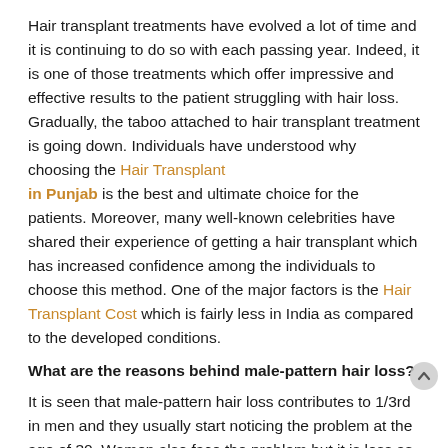Hair transplant treatments have evolved a lot of time and it is continuing to do so with each passing year. Indeed, it is one of those treatments which offer impressive and effective results to the patient struggling with hair loss. Gradually, the taboo attached to hair transplant treatment is going down. Individuals have understood why choosing the Hair Transplant in Punjab is the best and ultimate choice for the patients. Moreover, many well-known celebrities have shared their experience of getting a hair transplant which has increased confidence among the individuals to choose this method. One of the major factors is the Hair Transplant Cost which is fairly less in India as compared to the developed conditions.
What are the reasons behind male-pattern hair loss?
It is seen that male-pattern hair loss contributes to 1/3rd in men and they usually start noticing the problem at the age of 30. Women also face the problem but it is less as compared to men. One of the major factors is DHT (Dihydrotestosterone) is one of the major reasons which can damage the hair follicles